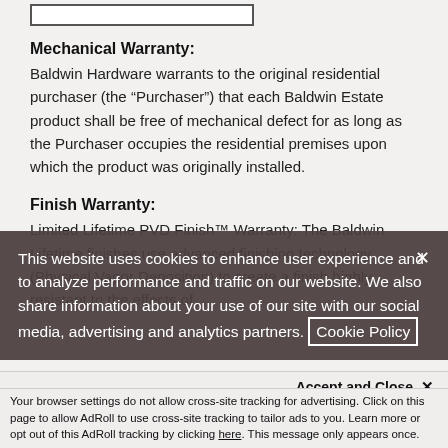Mechanical Warranty:
Baldwin Hardware warrants to the original residential purchaser (the “Purchaser”) that each Baldwin Estate product shall be free of mechanical defect for as long as the Purchaser occupies the residential premises upon which the product was originally installed.
Finish Warranty:
Limited Lifetime PVD Finish™ Warranty: The Baldwin Lifetime finishes use advanced finishing technology (Physical Vapor Deposition) to create a finish highly resistant to the effects of
This website uses cookies to enhance user experience and to analyze performance and traffic on our website. We also share information about your use of our site with our social media, advertising and analytics partners. Cookie Policy
Accept and Close ×
Your browser settings do not allow cross-site tracking for advertising. Click on this page to allow AdRoll to use cross-site tracking to tailor ads to you. Learn more or opt out of this AdRoll tracking by clicking here. This message only appears once.